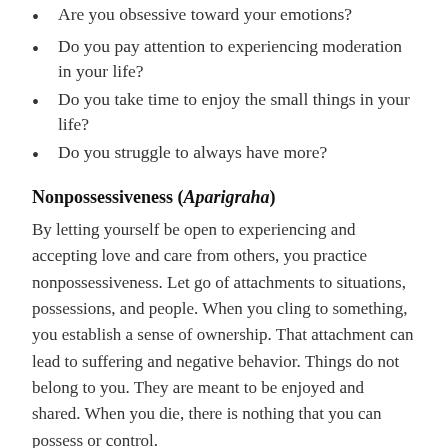Are you obsessive toward your emotions?
Do you pay attention to experiencing moderation in your life?
Do you take time to enjoy the small things in your life?
Do you struggle to always have more?
Nonpossessiveness (Aparigraha)
By letting yourself be open to experiencing and accepting love and care from others, you practice nonpossessiveness. Let go of attachments to situations, possessions, and people. When you cling to something, you establish a sense of ownership. That attachment can lead to suffering and negative behavior. Things do not belong to you. They are meant to be enjoyed and shared. When you die, there is nothing that you can possess or control.
Nonpossessiveness is the practice of letting go of